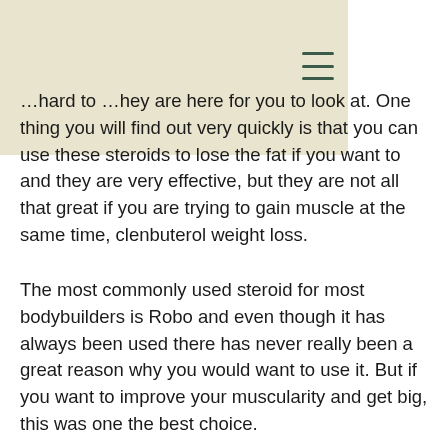…hard to …hey are here for you to look at. One thing you will find out very quickly is that you can use these steroids to lose the fat if you want to and they are very effective, but they are not all that great if you are trying to gain muscle at the same time, clenbuterol weight loss.
The most commonly used steroid for most bodybuilders is Robo and even though it has always been used there has never really been a great reason why you would want to use it. But if you want to improve your muscularity and get big, this was one the best choice.
You probably already know that Robo is a fairly easy going steroid which can easily be used by both beginner and advanced lifters…